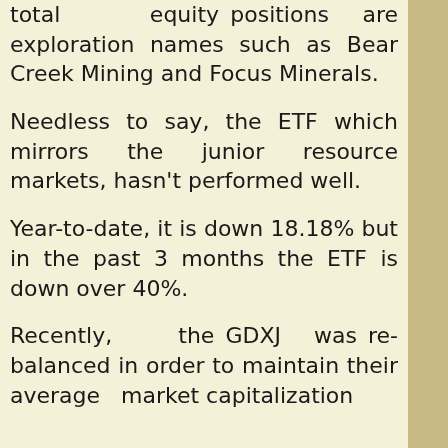total equity positions are exploration names such as Bear Creek Mining and Focus Minerals.
Needless to say, the ETF which mirrors the junior resource markets, hasn't performed well.
Year-to-date, it is down 18.18% but in the past 3 months the ETF is down over 40%.
Recently, the GDXJ was re-balanced in order to maintain their average market capitalization